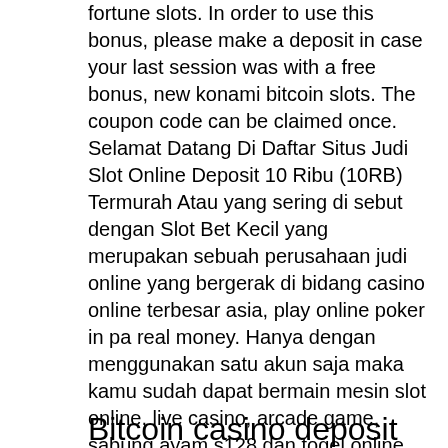fortune slots. In order to use this bonus, please make a deposit in case your last session was with a free bonus, new konami bitcoin slots. The coupon code can be claimed once. Selamat Datang Di Daftar Situs Judi Slot Online Deposit 10 Ribu (10RB) Termurah Atau yang sering di sebut dengan Slot Bet Kecil yang merupakan sebuah perusahaan judi online yang bergerak di bidang casino online terbesar asia, play online poker in pa real money. Hanya dengan menggunakan satu akun saja maka kamu sudah dapat bermain mesin slot online, live casino, arcade game, sabung ayam s128 dan togel online. Bonus plus 20 FREE Spins on " Jonah Hammer ". ASCENSION is the promo code for you to claim the extra chip and FREE Spins on the WGS powered slot game to shoot for the WIN, new free slots with bonus games.]]]]]]
Bitcoin casino deposit